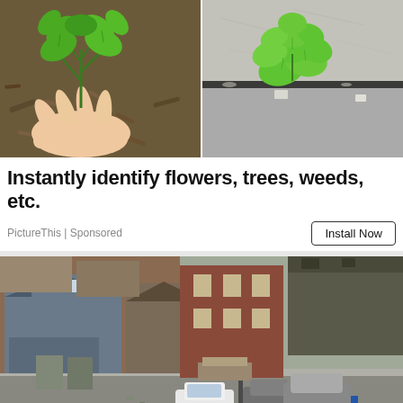[Figure (photo): Two-panel image: left panel shows a hand holding a green leafy plant over brown mulch/soil; right panel shows a green leafy plant growing through a crack in concrete pavement.]
Instantly identify flowers, trees, weeds, etc.
PictureThis | Sponsored
Install Now
[Figure (photo): Aerial view of a residential urban neighborhood with row houses, rooftops, parked cars including a white sedan, streets, and trees visible from above.]